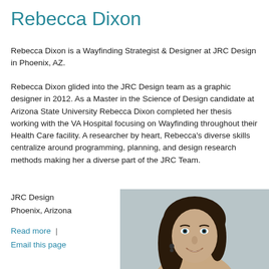Rebecca Dixon
Rebecca Dixon is a Wayfinding Strategist & Designer at JRC Design in Phoenix, AZ.
Rebecca Dixon glided into the JRC Design team as a graphic designer in 2012. As a Master in the Science of Design candidate at Arizona State University Rebecca Dixon completed her thesis working with the VA Hospital focusing on Wayfinding throughout their Health Care facility. A researcher by heart, Rebecca's diverse skills centralize around programming, planning, and design research methods making her a diverse part of the JRC Team.
JRC Design
Phoenix, Arizona
Read more  |  Email this page
[Figure (photo): Portrait photo of Rebecca Dixon, a young woman with dark brown hair, smiling, against a grey background.]